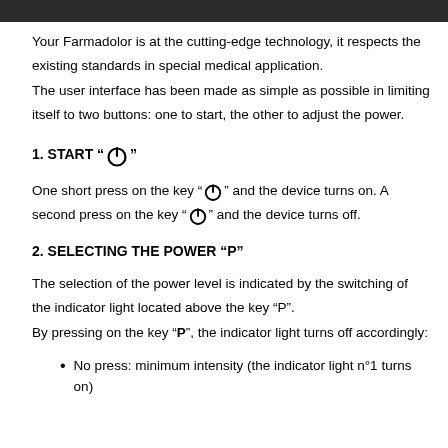Your Farmadolor is at the cutting-edge technology, it respects the existing standards in special medical application.
The user interface has been made as simple as possible in limiting itself to two buttons: one to start, the other to adjust the power.
1. START “[power icon]”
One short press on the key “[power icon]” and the device turns on. A second press on the key “[power icon]” and the device turns off.
2. SELECTING THE POWER “P”
The selection of the power level is indicated by the switching of the indicator light located above the key “P”.
By pressing on the key “P”, the indicator light turns off accordingly:
No press: minimum intensity (the indicator light n°1 turns on)